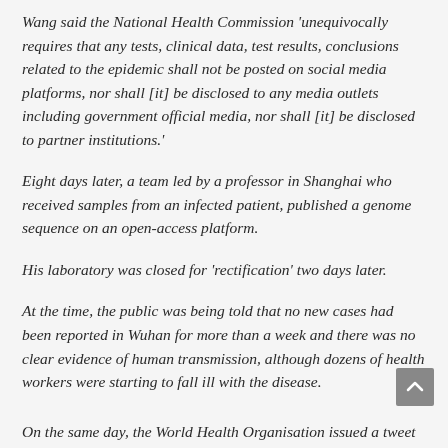Wang said the National Health Commission 'unequivocally requires that any tests, clinical data, test results, conclusions related to the epidemic shall not be posted on social media platforms, nor shall [it] be disclosed to any media outlets including government official media, nor shall [it] be disclosed to partner institutions.'
Eight days later, a team led by a professor in Shanghai who received samples from an infected patient, published a genome sequence on an open-access platform.
His laboratory was closed for 'rectification' two days later.
At the time, the public was being told that no new cases had been reported in Wuhan for more than a week and there was no clear evidence of human transmission, although dozens of health workers were starting to fall ill with the disease.
In an online lecture last month, Shi Zhengli said her team found on January 14 that the new virus could infect people – six days before this fact was revealed by China.
On the same day, the World Health Organisation issued a tweet...